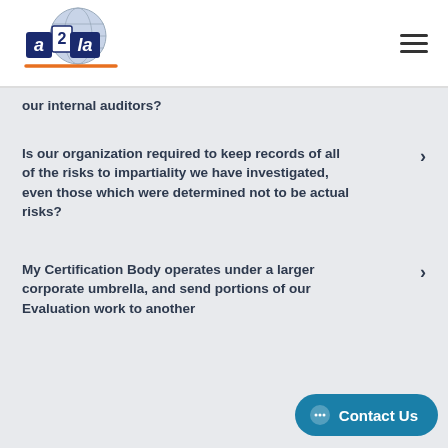[Figure (logo): A2LA logo with globe graphic and orange underline]
our internal auditors?
Is our organization required to keep records of all of the risks to impartiality we have investigated, even those which were determined not to be actual risks?
My Certification Body operates under a larger corporate umbrella, and send portions of our Evaluation work to another